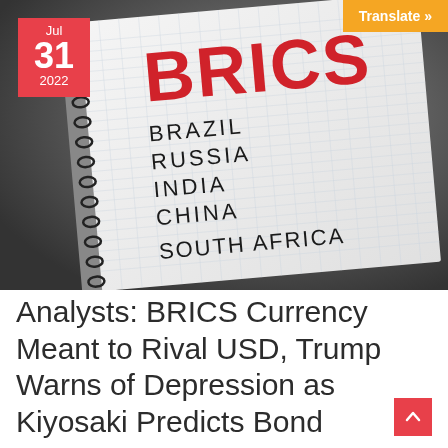[Figure (photo): A spiral-bound notebook on a dark background showing the text BRICS in large red letters, with BRAZIL, RUSSIA, INDIA, CHINA, SOUTH AFRICA listed below in black capital letters on grid paper]
Analysts: BRICS Currency Meant to Rival USD, Trump Warns of Depression as Kiyosaki Predicts Bond